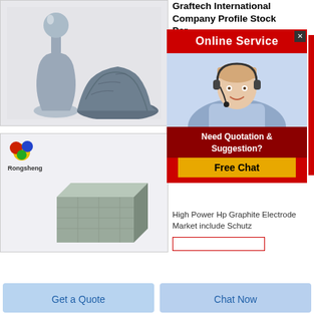[Figure (photo): Graphite powder in a glass flask and a pile of graphite powder on white background]
Graftech International Company Profile Stock Performance
Graftech Information
[Figure (photo): Online Service popup with red header, close button, female agent with headset photo, Need Quotation & Suggestion text, and Free Chat yellow button]
[Figure (photo): Rongsheng logo with colorful balloon icon and graphite foam block product image]
Global High Power Hp Graphite Electrode Market 2020
High Power Hp Graphite Electrode Market include Schutz
Get a Quote
Chat Now